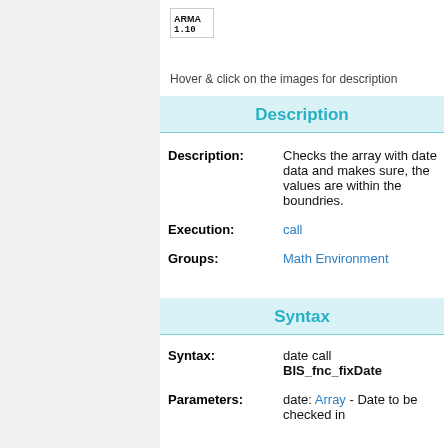[Figure (logo): ARMA logo image with pixelated text and version number 1.10 below]
Hover & click on the images for description
Description
| Description: | Checks the array with date data and makes sure, the values are within the boundries. |
| Execution: | call |
| Groups: | Math Environment |
Syntax
| Syntax: | date call BIS_fnc_fixDate |
| Parameters: | date: Array - Date to be checked in |